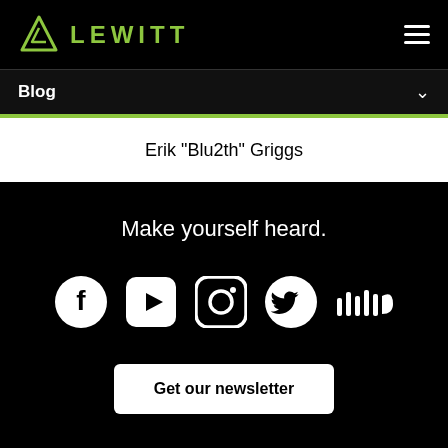LEWITT
Blog
Erik "Blu2th" Griggs
Make yourself heard.
[Figure (infographic): Social media icons: Facebook, YouTube, Instagram, Twitter, SoundCloud]
Get our newsletter